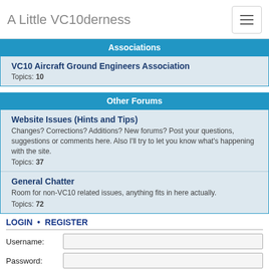A Little VC10derness
Associations
VC10 Aircraft Ground Engineers Association
Topics: 10
Other Forums
Website Issues (Hints and Tips)
Changes? Corrections? Additions? New forums? Post your questions, suggestions or comments here. Also I'll try to let you know what's happening with the site.
Topics: 37
General Chatter
Room for non-VC10 related issues, anything fits in here actually.
Topics: 72
LOGIN • REGISTER
Username:
Password:
I forgot my password
Remember me
WHO IS ONLINE
In total there are 11 users online :: 1 registered, 0 hidden and 10 guests (based on users active over the past 5 minutes)